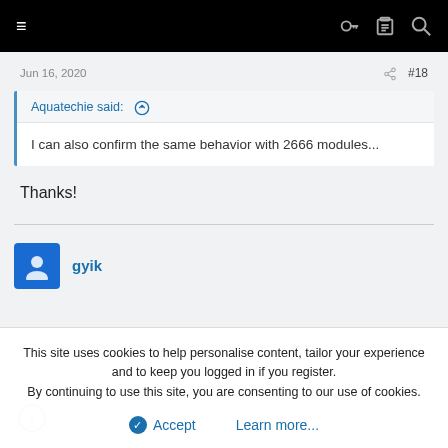≡  🔑 📋 🔍
Jun 16, 2020    < #18
Aquatechie said: ↑

I can also confirm the same behavior with 2666 modules...
Thanks!
gyik
This site uses cookies to help personalise content, tailor your experience and to keep you logged in if you register.
By continuing to use this site, you are consenting to our use of cookies.
✔ Accept    Learn more...